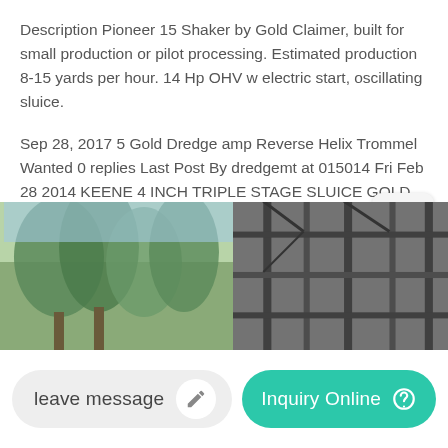Description Pioneer 15 Shaker by Gold Claimer, built for small production or pilot processing. Estimated production 8-15 yards per hour. 14 Hp OHV w electric start, oscillating sluice.
Sep 28, 2017 5 Gold Dredge amp Reverse Helix Trommel Wanted 0 replies Last Post By dredgemt at 015014 Fri Feb 28 2014 KEENE 4 INCH TRIPLE STAGE SLUICE GOLD MINING DREDGE WITH T80 AIR 20ft HOSE 1 replies Last Post By JimAlaska at 053301 Sun Feb 23 2014 5 6 Keene 3 stage Dredge 9 replies Last Post By rob2dog at 030942 Thu Feb 6 2014 5 ...
[Figure (photo): Two side-by-side photos: left shows green trees/vegetation, right shows dark metal structural framing/equipment]
leave message
Inquiry Online